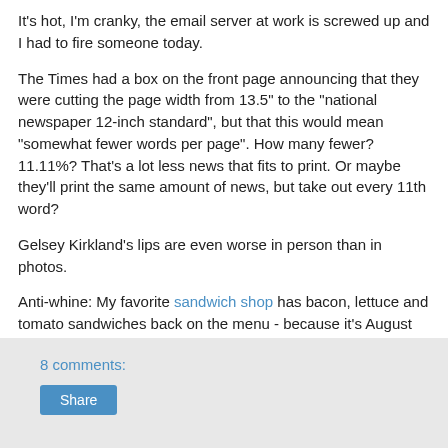It's hot, I'm cranky, the email server at work is screwed up and I had to fire someone today.
The Times had a box on the front page announcing that they were cutting the page width from 13.5" to the "national newspaper 12-inch standard", but that this would mean "somewhat fewer words per page". How many fewer? 11.11%? That's a lot less news that fits to print. Or maybe they'll print the same amount of news, but take out every 11th word?
Gelsey Kirkland's lips are even worse in person than in photos.
Anti-whine: My favorite sandwich shop has bacon, lettuce and tomato sandwiches back on the menu - because it's August and there are great local tomatoes available. Yum.
8 comments:
Share